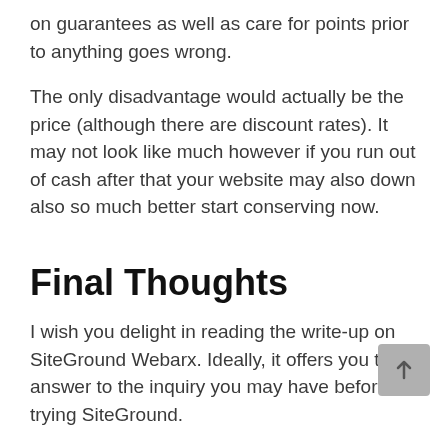on guarantees as well as care for points prior to anything goes wrong.
The only disadvantage would actually be the price (although there are discount rates). It may not look like much however if you run out of cash after that your website may also down also so much better start conserving now.
Final Thoughts
I wish you delight in reading the write-up on SiteGround Webarx. Ideally, it offers you the answer to the inquiry you may have before trying SiteGround.